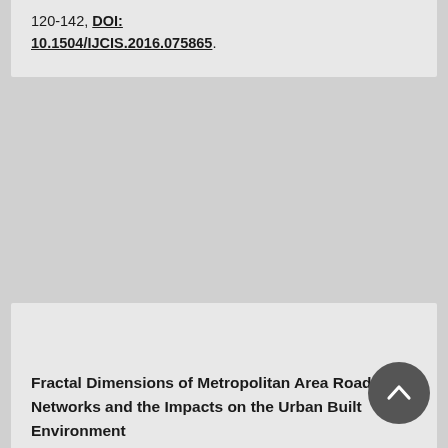120-142, DOI: 10.1504/IJCIS.2016.075865.
Fractal Dimensions of Metropolitan Area Road Networks and the Impacts on the Urban Built Environment
Zhongming Lu, Hong Zhang, Frank Southworth, John C. Crittenden, 2016, Ecological Indicators, 70, 285-296, DOI: 10.1016/j.ecolind.2016.06.016.